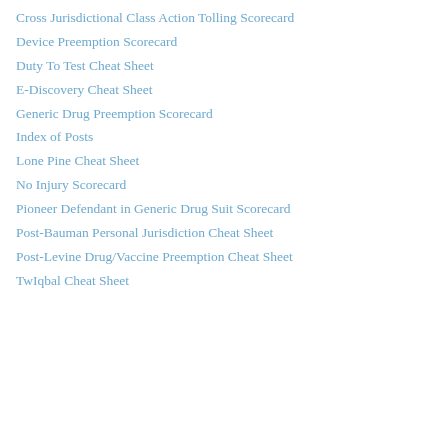Cross Jurisdictional Class Action Tolling Scorecard
Device Preemption Scorecard
Duty To Test Cheat Sheet
E-Discovery Cheat Sheet
Generic Drug Preemption Scorecard
Index of Posts
Lone Pine Cheat Sheet
No Injury Scorecard
Pioneer Defendant in Generic Drug Suit Scorecard
Post-Bauman Personal Jurisdiction Cheat Sheet
Post-Levine Drug/Vaccine Preemption Cheat Sheet
TwIqbal Cheat Sheet